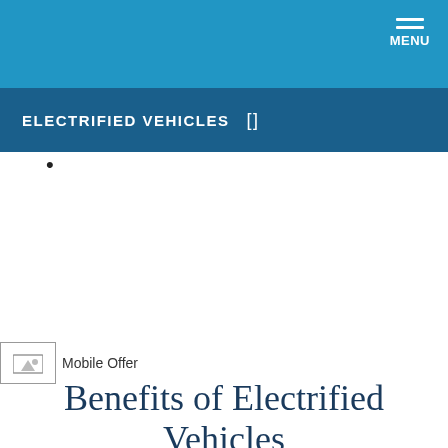MENU
ELECTRIFIED VEHICLES []
•
[Figure (photo): Mobile Offer image placeholder]
Benefits of Electrified Vehicles